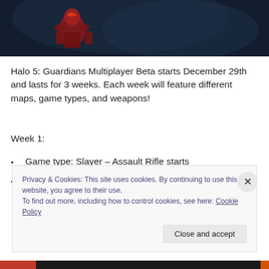[Figure (photo): Halo 5 Guardians game screenshot showing a red armored Spartan character against a dark blue background]
Halo 5: Guardians Multiplayer Beta starts December 29th and lasts for 3 weeks. Each week will feature different maps, game types, and weapons!
Week 1:
Game type: Slayer – Assault Rifle starts
Maps: Truth and Empire
Privacy & Cookies: This site uses cookies. By continuing to use this website, you agree to their use.
To find out more, including how to control cookies, see here: Cookie Policy
Close and accept